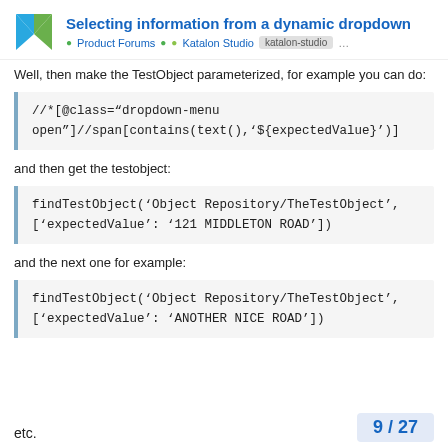Selecting information from a dynamic dropdown — Product Forums • Katalon Studio katalon-studio …
Well, then make the TestObject parameterized, for example you can do:
//*[@class="dropdown-menu open"]//span[contains(text(),'${expectedValue}')]
and then get the testobject:
findTestObject('Object Repository/TheTestObject', ['expectedValue': '121 MIDDLETON ROAD'])
and the next one for example:
findTestObject('Object Repository/TheTestObject', ['expectedValue': 'ANOTHER NICE ROAD'])
etc.
9 / 27